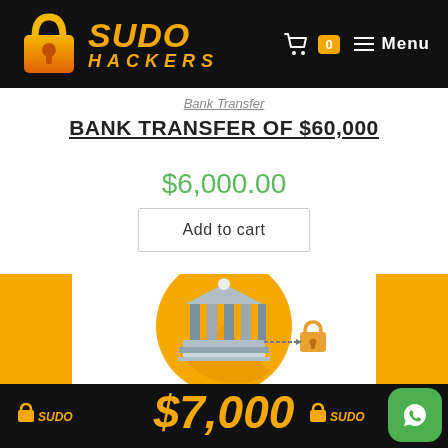SUDO HACKERS — Cart 0 — Menu
Bank Transfer
BANK TRANSFER OF $60,000
$6,000.00
Add to cart
[Figure (illustration): Bank transfer product image with orange side panels, a bank/institution icon on golden circle in center, and a padlock icon to the right. Bottom black banner shows $7,000 in orange text with SUDO branding.]